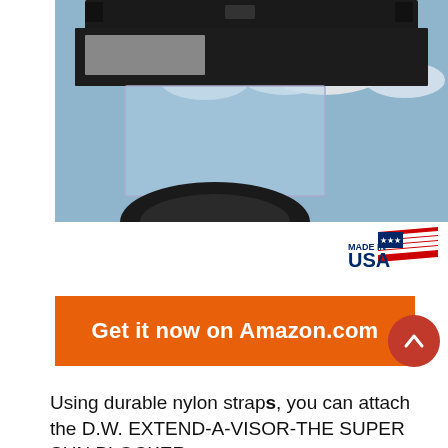[Figure (photo): Photo taken from inside a vehicle showing a sun visor extender (clear plastic panel) attached to the existing visor, with cloudy sky visible through the windshield and the top of the steering wheel visible at the bottom.]
[Figure (logo): Made in USA logo with American flag graphic and text 'MADE IN USA']
Get it now on Amazon.com
Using durable nylon straps, you can attach the D.W. EXTEND-A-VISOR-THE SUPER SUN BLOCKER